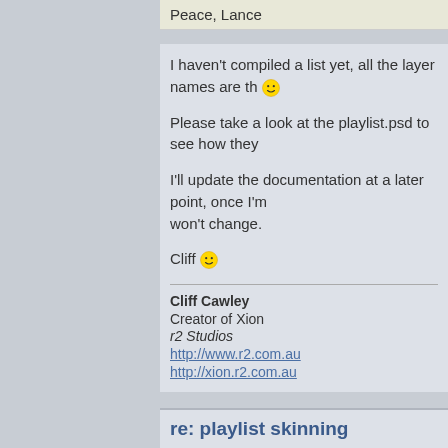Peace, Lance
I haven't compiled a list yet, all the layer names are th 😀
Please take a look at the playlist.psd to see how they
I'll update the documentation at a later point, once I'm won't change.
Cliff 😀
Cliff Cawley
Creator of Xion
r2 Studios
http://www.r2.com.au
http://xion.r2.com.au
re: playlist skinning